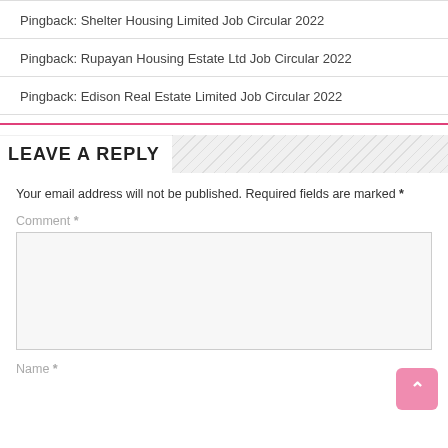Pingback: Shelter Housing Limited Job Circular 2022
Pingback: Rupayan Housing Estate Ltd Job Circular 2022
Pingback: Edison Real Estate Limited Job Circular 2022
LEAVE A REPLY
Your email address will not be published. Required fields are marked *
Comment *
Name *